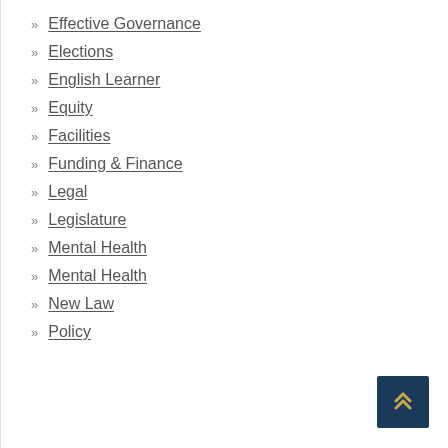» Effective Governance
» Elections
» English Learner
» Equity
» Facilities
» Funding & Finance
» Legal
» Legislature
» Mental Health
» Mental Health
» New Law
» Policy